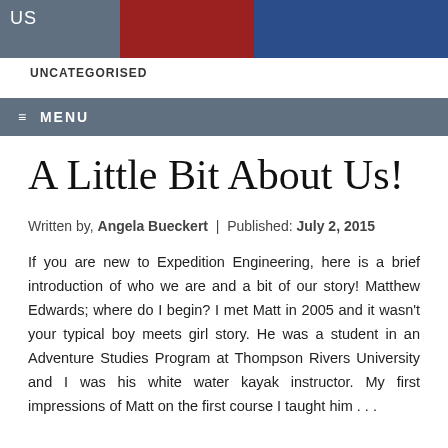US
UNCATEGORISED
≡  MENU
A Little Bit About Us!
Written by, Angela Bueckert  |  Published: July 2, 2015
If you are new to Expedition Engineering, here is a brief introduction of who we are and a bit of our story! Matthew Edwards; where do I begin? I met Matt in 2005 and it wasn't your typical boy meets girl story. He was a student in an Adventure Studies Program at Thompson Rivers University and I was his white water kayak instructor. My first impressions of Matt on the first course I taught him . . .